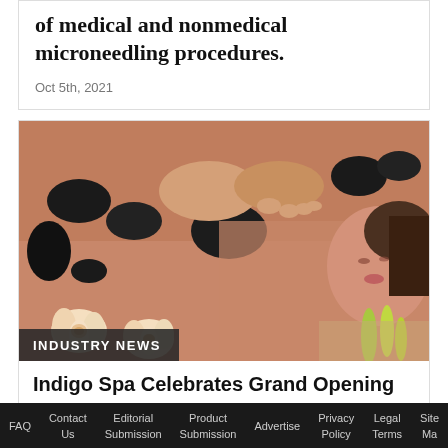of medical and nonmedical microneedling procedures.
Oct 5th, 2021
[Figure (photo): A woman receiving a hot stone massage, with black stones placed on her back and flowers in the foreground.]
INDUSTRY NEWS
Indigo Spa Celebrates Grand Opening
FAQ  Contact Us  Editorial Submission  Product Submission  Advertise  Privacy Policy  Legal Terms  Site Map